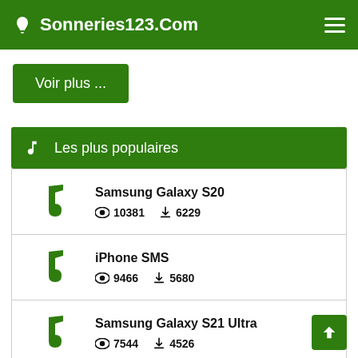Sonneries123.Com
Voir plus ...
Les plus populaires
Samsung Galaxy S20  10381  6229
iPhone SMS  9466  5680
Samsung Galaxy S21 Ultra  7544  4526